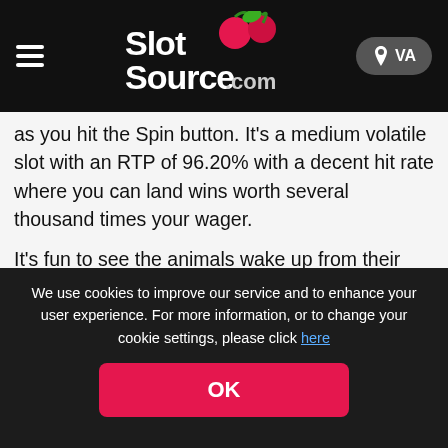SlotSource.com — VA
as you hit the Spin button. It's a medium volatile slot with an RTP of 96.20% with a decent hit rate where you can land wins worth several thousand times your wager.
It's fun to see the animals wake up from their slumber as you adjust the wager or 'make' another sound. Big wins will also wake them up as you score with cascades to grow the sunflower and reach higher multipliers. You can try the agricultural madness on your PC or phone for fun or real money in any top New Jersey online casino and the best Pennsylvania online slot site.
We use cookies to improve our service and to enhance your user experience. For more information, or to change your cookie settings, please click here